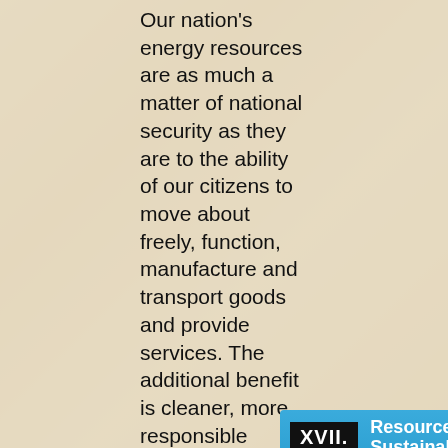Our nation's energy resources are as much a matter of national security as they are to the ability of our citizens to move about freely, function, manufacture and transport goods and provide services. The additional benefit is cleaner, more responsible energy use, for our nation and the environment.
[Figure (infographic): Blue banner with black box labeled XVII and white text 'Resource Sustainability:' followed by yellow italic bold text about Veterans' Party of America resource management, with a scenic lake and forested hill photograph below, and a Veterans' Party logo at bottom.]